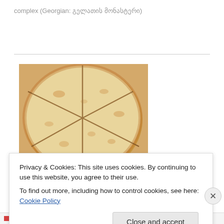complex (Georgian: გელათის მონასტერი)
[Figure (photo): A round Georgian cheese bread (Imereti khachapuri) cut into 6 triangular slices on a wooden board, viewed from above.]
Click on picture for recipe for Imertion...
Privacy & Cookies: This site uses cookies. By continuing to use this website, you agree to their use.
To find out more, including how to control cookies, see here: Cookie Policy
Close and accept